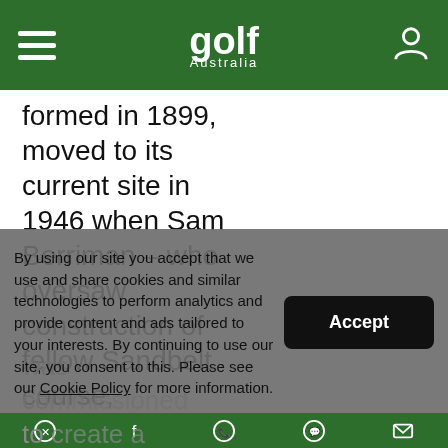Golf Australia
formed in 1899, moved to its current site in 1946 when Sam Berriman – who oversaw construction of fellow Sandbelt course, Huntingdale –
was commissioned to redesign the layout for...
By using our site you accept that we use and share cookies and similar technologies to perform analytics and provide content and ads tailored to your interests. By continuing to use our site, you consent to this. Please see our Cookie Policy for more information.